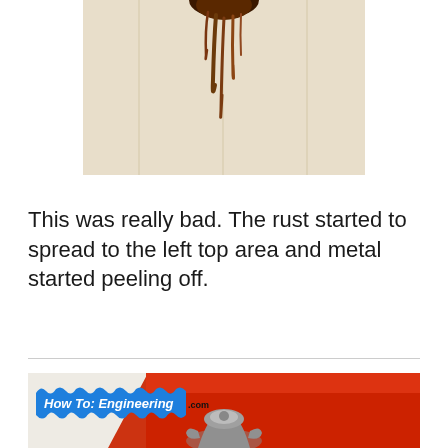[Figure (photo): Photo of a wall or surface showing rust stains and streaks dripping down from the top, with peeling and corrosion damage visible.]
This was really bad. The rust started to spread to the left top area and metal started peeling off.
[Figure (photo): Photo of a red metal surface with a corroded metal bracket or part sitting on it. The image has a 'How To: Engineering.com' watermark in the top left corner.]